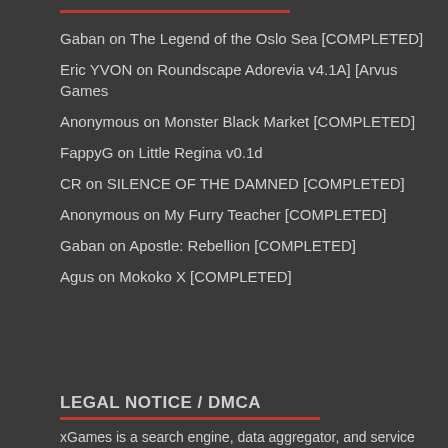Gaban on The Legend of the Oslo Sea [COMPLETED]
Eric YVON on Roundscape Adorevia v4.1A] [Arvus Games
Anonymous on Monster Black Market [COMPLETED]
FappyG on Little Regina v0.1d
CR on SILENCE OF THE DAMNED [COMPLETED]
Anonymous on My Furry Teacher [COMPLETED]
Gaban on Apostle: Rebellion [COMPLETED]
Agus on Mokoko X [COMPLETED]
LEGAL NOTICE / DMCA
xGames is a search engine, data aggregator, and service